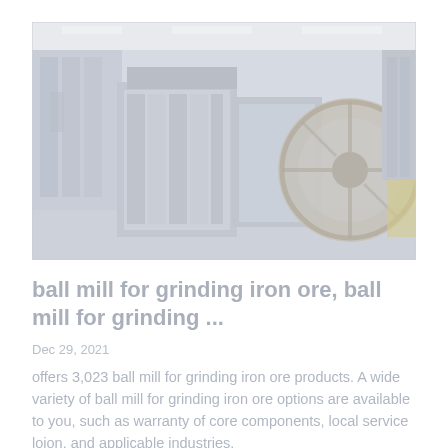[Figure (photo): Washed-out industrial photograph of a large ball mill / jaw crusher machine in a factory setting. The machine is grey with a large circular flywheel visible on the right side. The background shows shelving and industrial lighting.]
ball mill for grinding iron ore, ball mill for grinding ...
Dec 29, 2021
offers 3,023 ball mill for grinding iron ore products. A wide variety of ball mill for grinding iron ore options are available to you, such as warranty of core components, local service loion, and applicable industries.